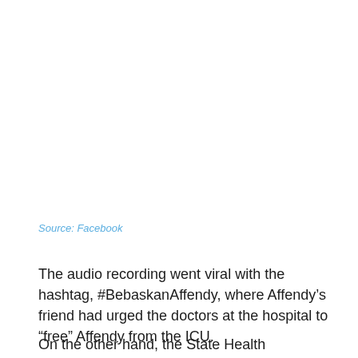Source: Facebook
The audio recording went viral with the hashtag, #BebaskanAffendy, where Affendy’s friend had urged the doctors at the hospital to “free” Affendy from the ICU.
On the other hand, the State Health Department Director,